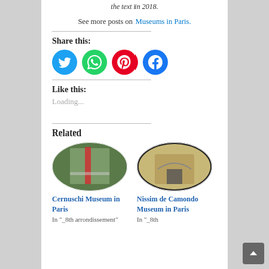the text in 2018.
See more posts on Museums in Paris.
Share this:
[Figure (infographic): Social sharing icons: Twitter (cyan), WhatsApp (green), Pinterest (red), Facebook (blue)]
Like this:
Loading...
Related
[Figure (photo): Oval photo of Cernuschi Museum in Paris building exterior]
Cernuschi Museum in Paris
In "_8th arrondissement"
[Figure (photo): Oval photo of Nissim de Camondo Museum in Paris building entrance]
Nissim de Camondo Museum in Paris
In "_8th